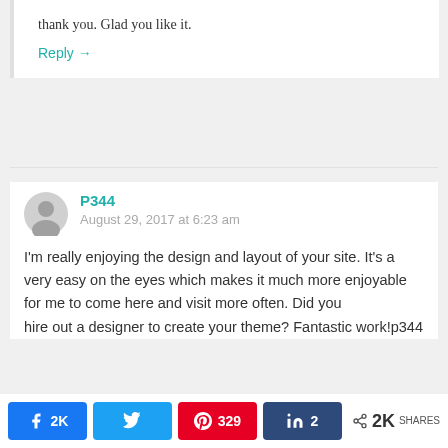thank you. Glad you like it.
Reply →
P344
August 29, 2017 at 6:23 am
I'm really enjoying the design and layout of your site. It's a very easy on the eyes which makes it much more enjoyable for me to come here and visit more often. Did you hire out a designer to create your theme? Fantastic work!p344
Facebook 2K | Twitter | Pinterest 329 | LinkedIn 2 | Share 2K SHARES